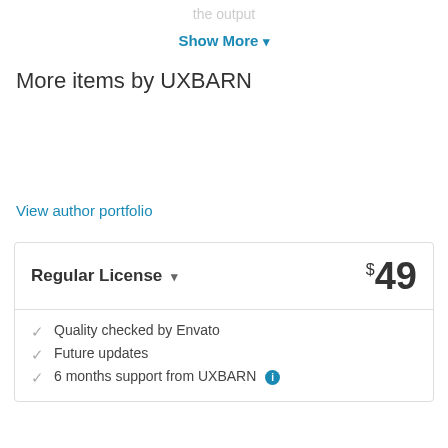the output
Show More ▾
More items by UXBARN
View author portfolio
Regular License ▾   $49
Quality checked by Envato
Future updates
6 months support from UXBARN ℹ